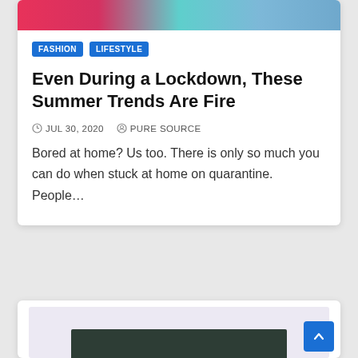[Figure (photo): Top portion of a fashion photo showing people in colorful summer outfits (pink, teal/floral, blue)]
FASHION   LIFESTYLE
Even During a Lockdown, These Summer Trends Are Fire
JUL 30, 2020   PURE SOURCE
Bored at home? Us too. There is only so much you can do when stuck at home on quarantine. People…
[Figure (photo): Bottom card showing a partially visible image with a dark rectangular element, likely another article preview]